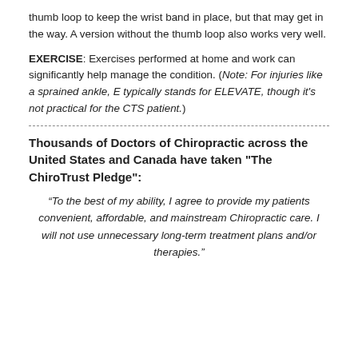thumb loop to keep the wrist band in place, but that may get in the way. A version without the thumb loop also works very well.
EXERCISE: Exercises performed at home and work can significantly help manage the condition. (Note: For injuries like a sprained ankle, E typically stands for ELEVATE, though it's not practical for the CTS patient.)
Thousands of Doctors of Chiropractic across the United States and Canada have taken "The ChiroTrust Pledge":
“To the best of my ability, I agree to provide my patients convenient, affordable, and mainstream Chiropractic care. I will not use unnecessary long-term treatment plans and/or therapies.”